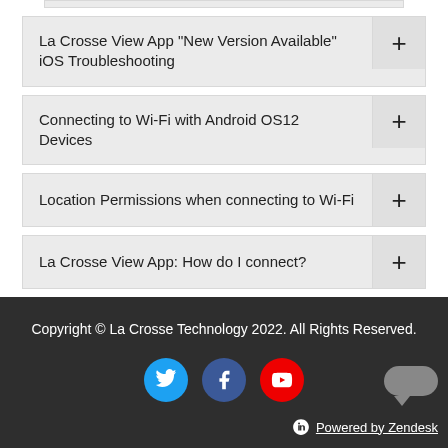La Crosse View App "New Version Available" iOS Troubleshooting
Connecting to Wi-Fi with Android OS12 Devices
Location Permissions when connecting to Wi-Fi
La Crosse View App: How do I connect?
Copyright © La Crosse Technology 2022. All Rights Reserved.
Powered by Zendesk